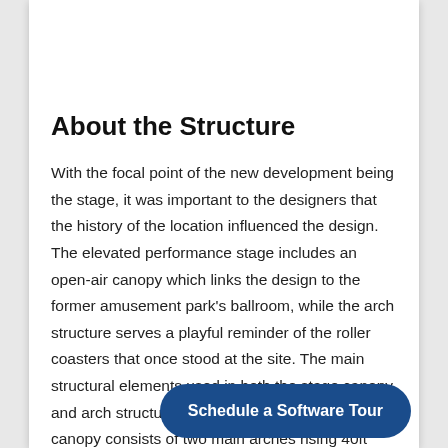About the Structure
With the focal point of the new development being the stage, it was important to the designers that the history of the location influenced the design. The elevated performance stage includes an open-air canopy which links the design to the former amusement park's ballroom, while the arch structure serves a playful reminder of the roller coasters that once stood at the site. The main structural elements used in both the stage canopy and arch structure are round HSS sections. The canopy consists of two main arches rising 40ft including HSS14x0.625 sections that form a 46ft